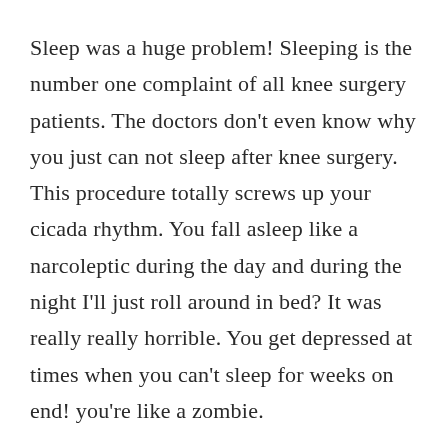Sleep was a huge problem! Sleeping is the number one complaint of all knee surgery patients. The doctors don't even know why you just can not sleep after knee surgery. This procedure totally screws up your cicada rhythm. You fall asleep like a narcoleptic during the day and during the night I'll just roll around in bed? It was really really horrible. You get depressed at times when you can't sleep for weeks on end! you're like a zombie.